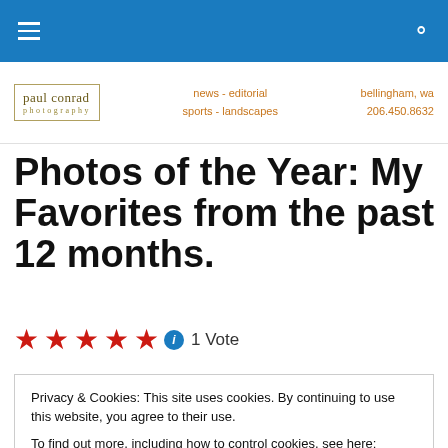Navigation bar with hamburger menu and search icon
[Figure (logo): paul conrad photography logo with border, navigation links (news - editorial, sports - landscapes), and contact info (bellingham, wa, 206.450.8632)]
Photos of the Year: My Favorites from the past 12 months.
★★★★★ ℹ 1 Vote
Privacy & Cookies: This site uses cookies. By continuing to use this website, you agree to their use.
To find out more, including how to control cookies, see here: Cookie Policy
Close and accept